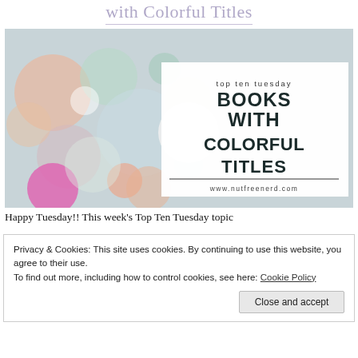with Colorful Titles
[Figure (illustration): A bokeh-style photo with blurred colorful lights (peach, mint, magenta, white) on a soft gray-blue background. Overlaid on the right side is a white box containing the text: 'top ten tuesday BOOKS WITH COLORFUL TITLES www.nutfreenerd.com']
Happy Tuesday!! This week's Top Ten Tuesday topic
Privacy & Cookies: This site uses cookies. By continuing to use this website, you agree to their use.
To find out more, including how to control cookies, see here: Cookie Policy
Close and accept